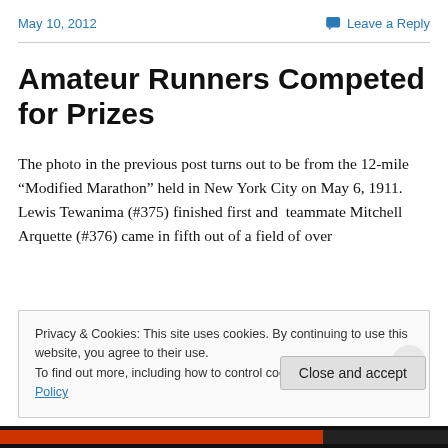May 10, 2012
Leave a Reply
Amateur Runners Competed for Prizes
The photo in the previous post turns out to be from the 12-mile “Modified Marathon” held in New York City on May 6, 1911. Lewis Tewanima (#375) finished first and  teammate Mitchell Arquette (#376) came in fifth out of a field of over
Privacy & Cookies: This site uses cookies. By continuing to use this website, you agree to their use.
To find out more, including how to control cookies, see here: Cookie Policy
Close and accept